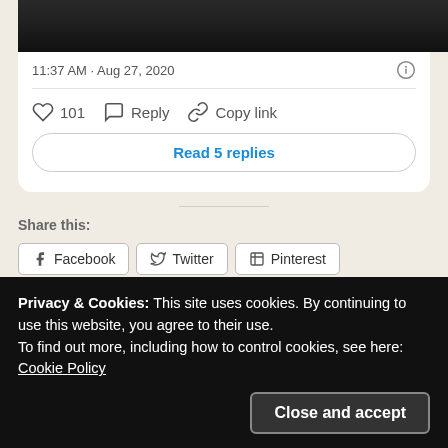[Figure (photo): Dark photo showing a person partially visible at the top of the card]
11:37 AM · Aug 27, 2020
101   Reply   Copy link
Read 5 replies
Share this:
Facebook   Twitter   Pinterest   Email   Print
More
Privacy & Cookies: This site uses cookies. By continuing to use this website, you agree to their use.
To find out more, including how to control cookies, see here: Cookie Policy
Close and accept